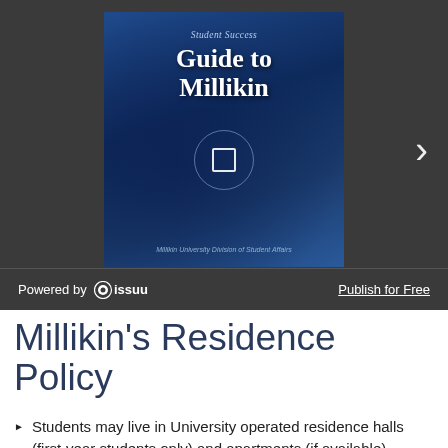[Figure (screenshot): Issuu embedded viewer showing the cover of 'Student Success Guide to Millikin' published by Millikin University Division of Student Affairs. The cover has a dark blue background with a wintery campus scene. A navigation arrow is visible on the right. At the bottom of the embed is an Issuu branding bar with 'Powered by issuu' on the left and 'Publish for Free' on the right.]
Millikin's Residence Policy
Students may live in University operated residence halls (first-year students only) and apartments (if available), Greek chapter houses and The Woods at Millikin. All